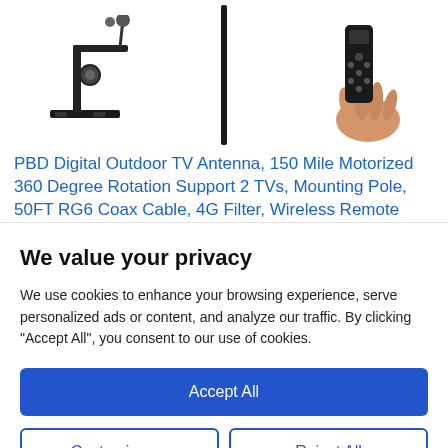[Figure (photo): Product images of a TV antenna mount, pole, and a hand holding a remote control]
PBD Digital Outdoor TV Antenna, 150 Mile Motorized 360 Degree Rotation Support 2 TVs, Mounting Pole, 50FT RG6 Coax Cable, 4G Filter, Wireless Remote Control,
We value your privacy
We use cookies to enhance your browsing experience, serve personalized ads or content, and analyze our traffic. By clicking "Accept All", you consent to our use of cookies.
Accept All
Customize
Reject All